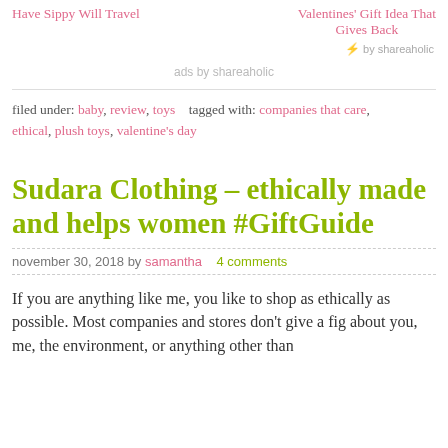Have Sippy Will Travel   Valentines' Gift Idea That Gives Back
⚡ by shareaholic
ads by shareaholic
filed under: baby, review, toys   tagged with: companies that care, ethical, plush toys, valentine's day
Sudara Clothing – ethically made and helps women #GiftGuide
november 30, 2018 by samantha   4 comments
If you are anything like me, you like to shop as ethically as possible. Most companies and stores don't give a fig about you, me, the environment, or anything other than